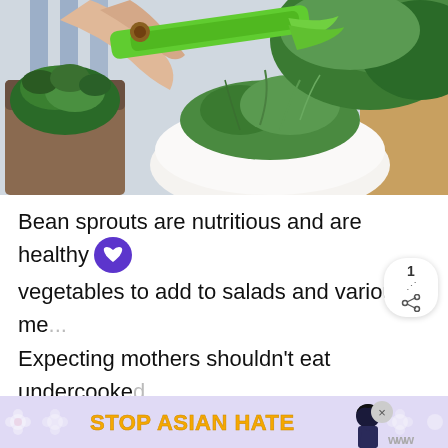[Figure (photo): Photo of hands using green scissors to cut microgreens/sprouts over a white bowl, with green herbs visible, shot from above on a striped surface]
Bean sprouts are nutritious and are healthy vegetables to add to salads and various me... Expecting mothers shouldn't eat undercooked or raw sprouts because there could be a risk of infection with bacteria including Salmonella, E. co... ad... orne
[Figure (other): Advertisement banner: 'STOP ASIAN HATE' in bold yellow/orange text on purple/lavender background with flower decorations and an anime-style character]